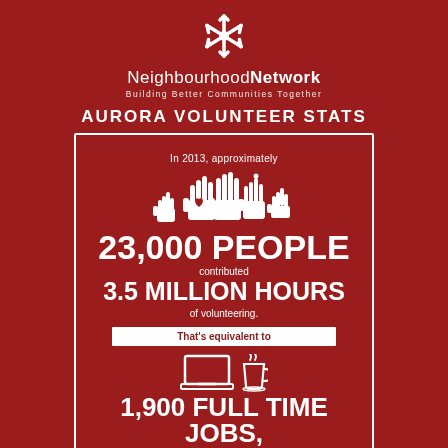[Figure (logo): NeighbourhoodNetwork logo with snowflake/asterisk icon. Text: 'NeighbourhoodNetwork' and 'Building Better Communities Together']
AURORA VOLUNTEER STATS
[Figure (infographic): Infographic box: In 2013, approximately 23,000 PEOPLE contributed 3.5 MILLION HOURS of volunteering. That's equivalent to 1,900 FULL TIME JOBS, valued at 67 million dollars!]